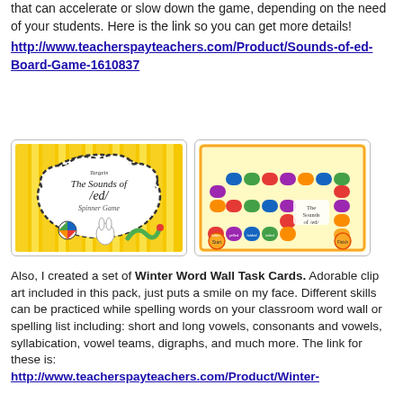that can accelerate or slow down the game, depending on the need of your students.  Here is the link so you can get more details!
http://www.teacherspayteachers.com/Product/Sounds-of-ed-Board-Game-1610837
[Figure (illustration): Yellow striped background with a cloud shape containing text 'The Sounds of /ed/ Spinner Game' with colorful spinner and game pieces]
[Figure (illustration): Board game with snake/path shape showing 'The Sounds of /ed/' with colorful segments]
Also, I created a set of Winter Word Wall Task Cards. Adorable clip art included in this pack, just puts a smile on my face.  Different skills can be practiced while spelling words on your classroom word wall or spelling list including: short and long vowels, consonants and vowels, syllabication, vowel teams, digraphs, and much more.  The link for these is:
http://www.teacherspayteachers.com/Product/Winter-